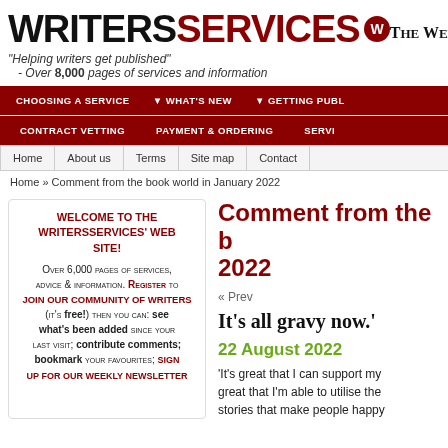[Figure (logo): WritersServices logo with red circle W badge]
"Helping writers get published" - Over 8,000 pages of services and information
THE WEBSITE
CHOOSING A SERVICE | WHAT'S NEW | GETTING PUBL... | CONTRACT VETTING | PAYMENT & ORDERING | SERVI...
Home | About us | Terms | Site map | Contact
Home » Comment from the book world in January 2022
WELCOME TO THE WRITERSSERVICES' WEB SITE!
Over 6,000 pages of services, advice & information. Register to join our community of writers (it's free!) then you can: see what's been added since your last visit; contribute comments; bookmark your favourites; sign up for our weekly newsletter
Comment from the book world in January 2022
« Prev
It's all gravy now.'
22 August 2022
'It's great that I can support my great that I'm able to utilise the stories that make people happy